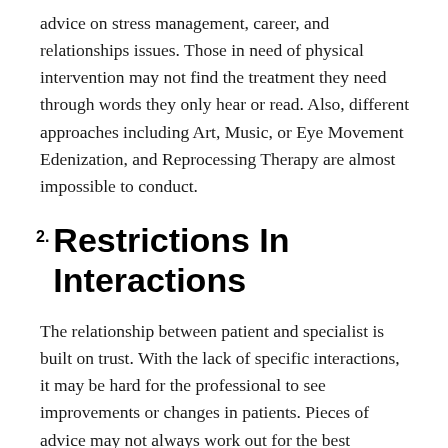advice on stress management, career, and relationships issues. Those in need of physical intervention may not find the treatment they need through words they only hear or read. Also, different approaches including Art, Music, or Eye Movement Edenization, and Reprocessing Therapy are almost impossible to conduct.
2. Restrictions In Interactions
The relationship between patient and specialist is built on trust. With the lack of specific interactions, it may be hard for the professional to see improvements or changes in patients. Pieces of advice may not always work out for the best especially when you only see